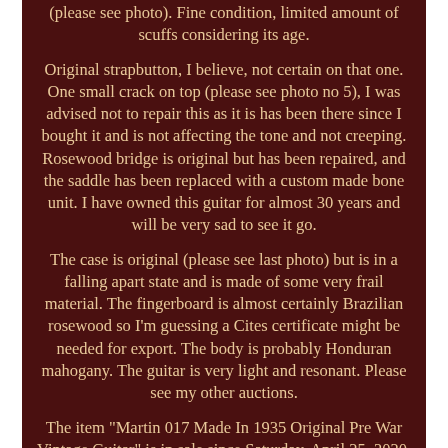(please see photo). Fine condition, limited amount of scuffs considering its age.
Original strapbutton, I believe, not certain on that one. One small crack on top (please see photo no 5), I was advised not to repair this as it is has been there since I bought it and is not affecting the tone and not creeping. Rosewood bridge is original but has been repaired, and the saddle has been replaced with a custom made bone unit. I have owned this guitar for almost 30 years and will be very sad to see it go.
The case is original (please see last photo) but is in a falling apart state and is made of some very frail material. The fingerboard is almost certainly Brazilian rosewood so I'm guessing a Cites certificate might be needed for export. The body is probably Honduran mahogany. The guitar is very light and resonant. Please see my other auctions.
The item "Martin 017 Made In 1935 Original Pre War Vintage Guitar" is in sale since Saturday, April 25, 2020. This item is in the category "Musical